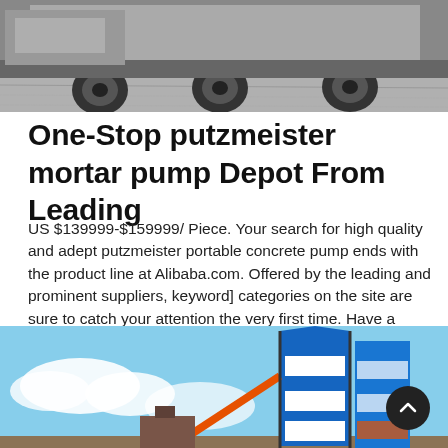[Figure (photo): Black and white photo of a truck/vehicle with large tires on a textured surface, partially cropped at top]
One-Stop putzmeister mortar pump Depot From Leading
US $139999-$159999/ Piece. Your search for high quality and adept putzmeister portable concrete pump ends with the product line at Alibaba.com. Offered by the leading and prominent suppliers, keyword] categories on the site are sure to catch your attention the very first time. Have a glance at some of the most proficient putzmeister portable
[Figure (photo): Photo of industrial concrete mixing plant with blue and white silos against a blue sky with clouds]
Learn More